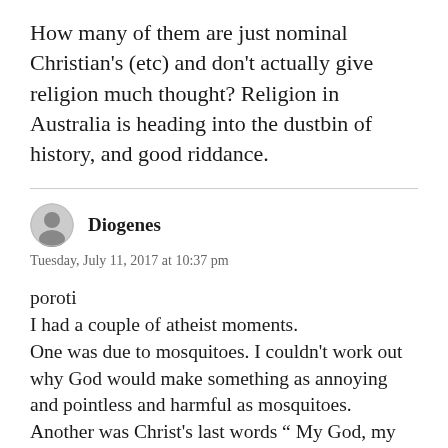How many of them are just nominal Christian's (etc) and don't actually give religion much thought? Religion in Australia is heading into the dustbin of history, and good riddance.
Diogenes
Tuesday, July 11, 2017 at 10:37 pm
poroti
I had a couple of atheist moments.
One was due to mosquitoes. I couldn't work out why God would make something as annoying and pointless and harmful as mosquitoes.
Another was Christ's last words " My God, my God, why have you forsaken me?"